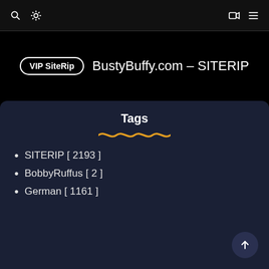Navigation bar with search, theme toggle, video and menu icons
VIP SiteRip  BustyBuffy.com – SITERIP
Tags
SITERIP [ 2193 ]
BobbyRuffus [ 2 ]
German [ 1161 ]